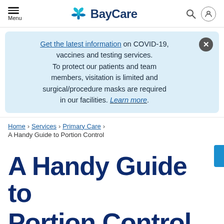Menu | BayCare | [search] [account]
Get the latest information on COVID-19, vaccines and testing services. To protect our patients and team members, visitation is limited and surgical/procedure masks are required in our facilities. Learn more.
Home > Services > Primary Care > A Handy Guide to Portion Control
A Handy Guide to Portion Control